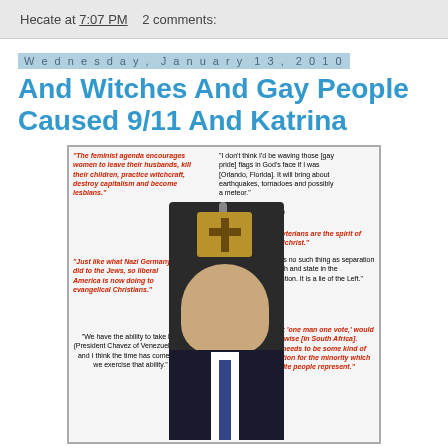Hecate at 7:07 PM    2 comments:
Wednesday, January 13, 2010
And Witches And Gay People Caused 9/11 And Katrina
[Figure (photo): Political commentary image with a public figure depicted with a bomb on head, surrounded by various inflammatory quotes in red and black text]